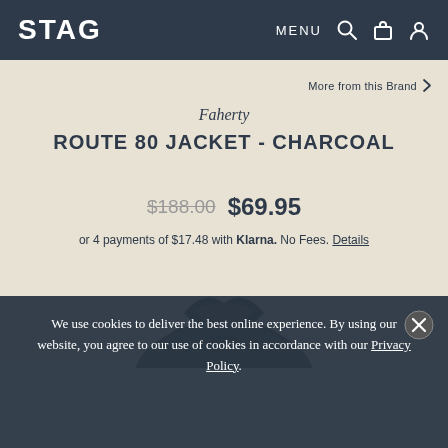STAG | MENU
More from this Brand >
Faherty
ROUTE 80 JACKET - CHARCOAL
$188.00  $69.95
or 4 payments of $17.48 with Klarna. No Fees. Details
[Figure (photo): Charcoal jacket collar and upper body shown from front]
We use cookies to deliver the best online experience. By using our website, you agree to our use of cookies in accordance with our Privacy Policy.